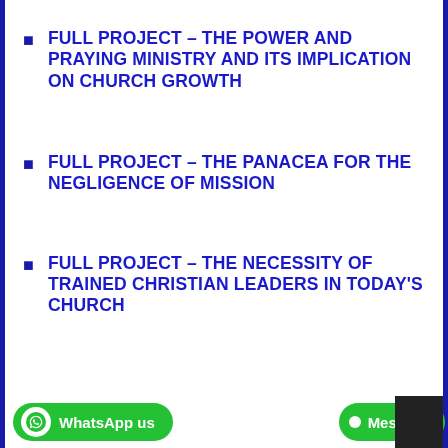FULL PROJECT – THE POWER AND PRAYING MINISTRY AND ITS IMPLICATION ON CHURCH GROWTH
FULL PROJECT – THE PANACEA FOR THE NEGLIGENCE OF MISSION
FULL PROJECT – THE NECESSITY OF TRAINED CHRISTIAN LEADERS IN TODAY'S CHURCH